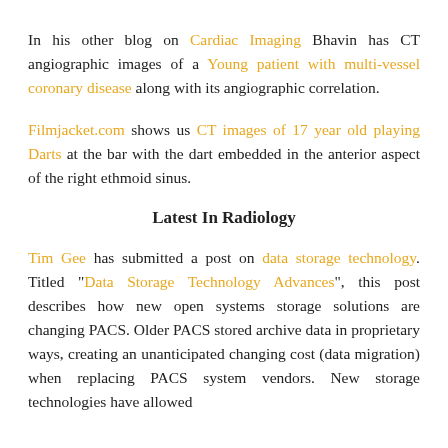In his other blog on Cardiac Imaging Bhavin has CT angiographic images of a Young patient with multi-vessel coronary disease along with its angiographic correlation.
Filmjacket.com shows us CT images of 17 year old playing Darts at the bar with the dart embedded in the anterior aspect of the right ethmoid sinus.
Latest In Radiology
Tim Gee has submitted a post on data storage technology. Titled "Data Storage Technology Advances", this post describes how new open systems storage solutions are changing PACS. Older PACS stored archive data in proprietary ways, creating an unanticipated changing cost (data migration) when replacing PACS system vendors. New storage technologies have allowed